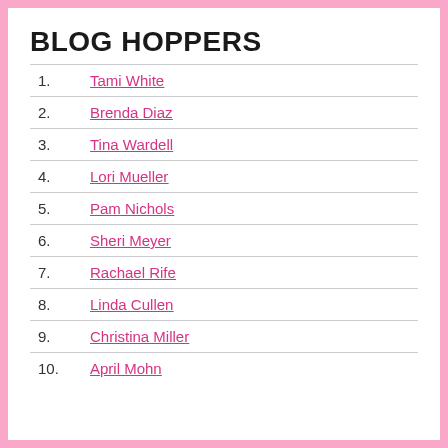BLOG HOPPERS
1. Tami White
2. Brenda Diaz
3. Tina Wardell
4. Lori Mueller
5. Pam Nichols
6. Sheri Meyer
7. Rachael Rife
8. Linda Cullen
9. Christina Miller
10. April Mohn